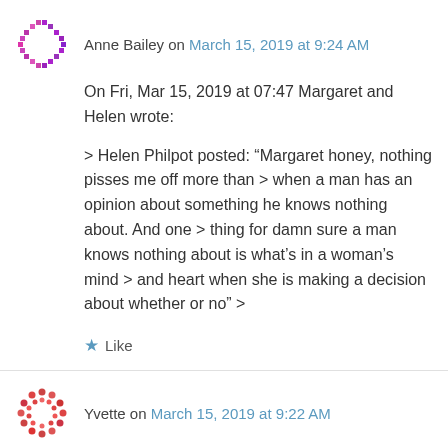Anne Bailey on March 15, 2019 at 9:24 AM
On Fri, Mar 15, 2019 at 07:47 Margaret and Helen wrote:
> Helen Philpot posted: “Margaret honey, nothing pisses me off more than > when a man has an opinion about something he knows nothing about. And one > thing for damn sure a man knows nothing about is what’s in a woman’s mind > and heart when she is making a decision about whether or no” >
Like
Yvette on March 15, 2019 at 9:22 AM